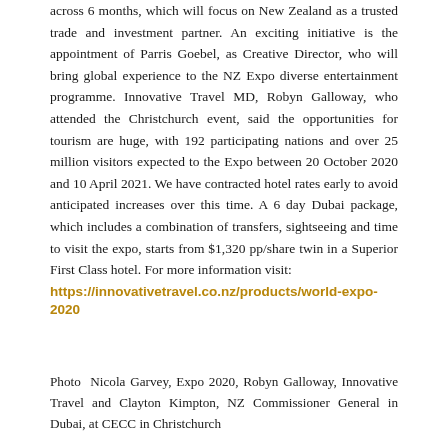across 6 months, which will focus on New Zealand as a trusted trade and investment partner. An exciting initiative is the appointment of Parris Goebel, as Creative Director, who will bring global experience to the NZ Expo diverse entertainment programme. Innovative Travel MD, Robyn Galloway, who attended the Christchurch event, said the opportunities for tourism are huge, with 192 participating nations and over 25 million visitors expected to the Expo between 20 October 2020 and 10 April 2021. We have contracted hotel rates early to avoid anticipated increases over this time. A 6 day Dubai package, which includes a combination of transfers, sightseeing and time to visit the expo, starts from $1,320 pp/share twin in a Superior First Class hotel. For more information visit:
https://innovativetravel.co.nz/products/world-expo-2020
Photo Nicola Garvey, Expo 2020, Robyn Galloway, Innovative Travel and Clayton Kimpton, NZ Commissioner General in Dubai, at CECC in Christchurch